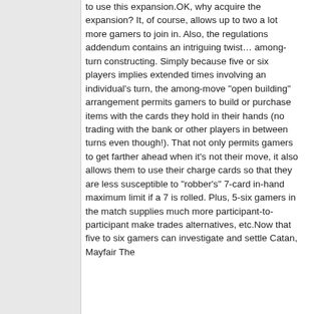to use this expansion.OK, why acquire the expansion? It, of course, allows up to two a lot more gamers to join in. Also, the regulations addendum contains an intriguing twist… among-turn constructing. Simply because five or six players implies extended times involving an individual's turn, the among-move "open building" arrangement permits gamers to build or purchase items with the cards they hold in their hands (no trading with the bank or other players in between turns even though!). That not only permits gamers to get farther ahead when it's not their move, it also allows them to use their charge cards so that they are less susceptible to "robber's" 7-card in-hand maximum limit if a 7 is rolled. Plus, 5-six gamers in the match supplies much more participant-to-participant make trades alternatives, etc.Now that five to six gamers can investigate and settle Catan, Mayfair The